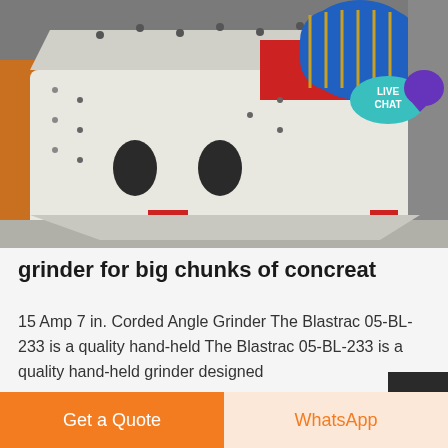[Figure (photo): Industrial grinder machine with a white body, two oval holes, and a blue electric motor on top with red components. A 'LIVE CHAT' speech bubble with a purple chat icon appears in the upper right corner.]
grinder for big chunks of concreat
15 Amp 7 in. Corded Angle Grinder The Blastrac 05-BL-233 is a quality hand-held The Blastrac 05-BL-233 is a quality hand-held grinder designed
Get a Quote
WhatsApp